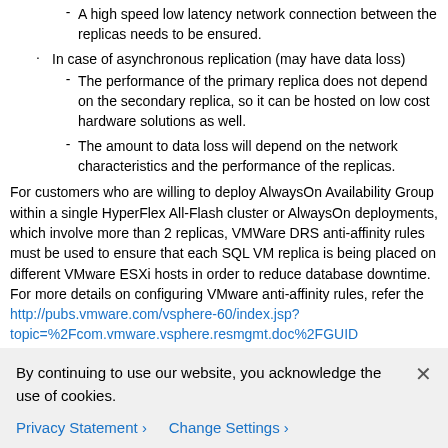A high speed low latency network connection between the replicas needs to be ensured.
In case of asynchronous replication (may have data loss)
The performance of the primary replica does not depend on the secondary replica, so it can be hosted on low cost hardware solutions as well.
The amount to data loss will depend on the network characteristics and the performance of the replicas.
For customers who are willing to deploy AlwaysOn Availability Group within a single HyperFlex All-Flash cluster or AlwaysOn deployments, which involve more than 2 replicas, VMWare DRS anti-affinity rules must be used to ensure that each SQL VM replica is being placed on different VMware ESXi hosts in order to reduce database downtime. For more details on configuring VMware anti-affinity rules, refer the http://pubs.vmware.com/vsphere-60/index.jsp?topic=%25com.vmware.vsphere.resmgmt.doc%25GUID...
By continuing to use our website, you acknowledge the use of cookies.
Privacy Statement > Change Settings >